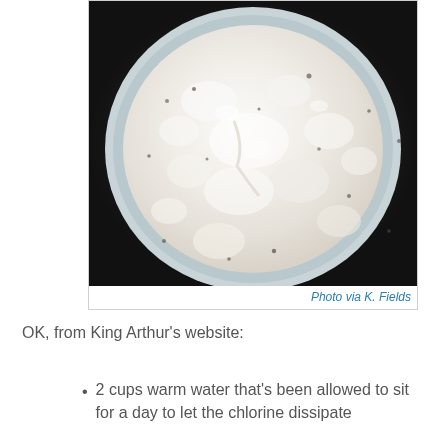[Figure (photo): Close-up photo of bubbly, foamy sourdough starter in a ceramic bowl, viewed from above. The mixture appears white and creamy with air bubbles throughout.]
Photo via K. Fields
OK, from King Arthur's website:
2 cups warm water that's been allowed to sit for a day to let the chlorine dissipate